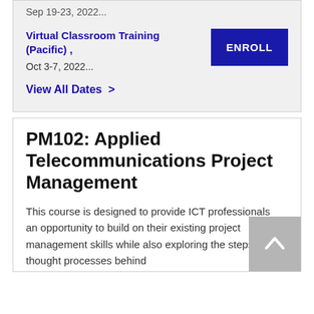Sep 19-23, 2022...
Virtual Classroom Training (Pacific) ,
Oct 3-7, 2022...
ENROLL
View All Dates >
PM102: Applied Telecommunications Project Management
This course is designed to provide ICT professionals an opportunity to build on their existing project management skills while also exploring the steps and thought processes behind